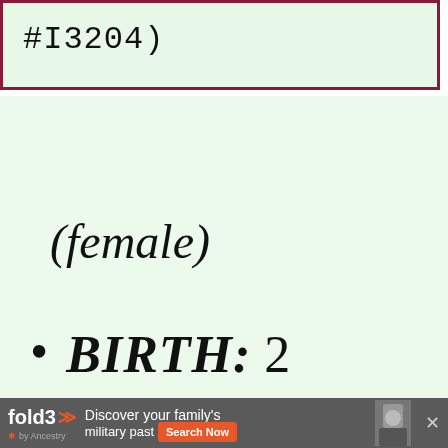#I3204)
(female)
BIRTH: 2 MAR 1766, Moudon
[Figure (screenshot): Advertisement banner for fold3 by Ancestry: 'Discover your family's military past' with Search Now button and photo of Civil War soldier]